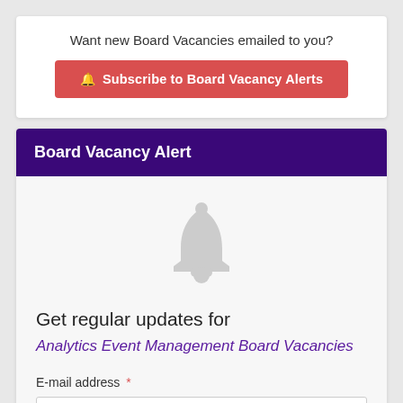Want new Board Vacancies emailed to you?
Subscribe to Board Vacancy Alerts
Board Vacancy Alert
[Figure (illustration): Large light gray bell icon centered in the card body]
Get regular updates for
Analytics Event Management Board Vacancies
E-mail address *
E-mail address